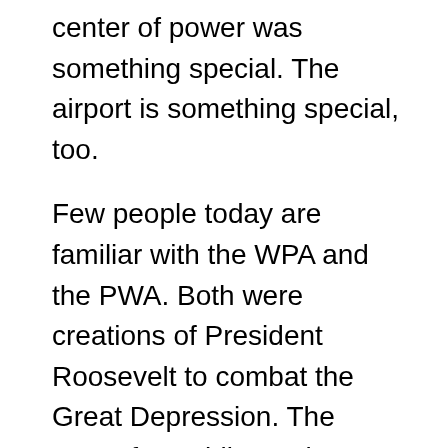center of power was something special. The airport is something special, too.
Few people today are familiar with the WPA and the PWA. Both were creations of President Roosevelt to combat the Great Depression. The PWA, for Public Works Administration, did projects. The WPA, for Work Projects Administration (originally Works Progress Administration), hired unemployed people to work on these projects. The two most noteworthy airports that came about because of this are Washington National and LaGuardia in New